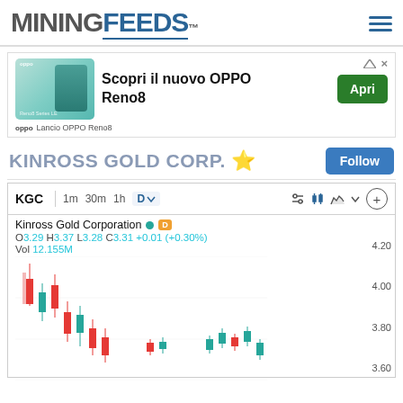MINING FEEDS™
[Figure (screenshot): OPPO Reno8 advertisement banner with phone image, text 'Scopri il nuovo OPPO Reno8', and a green 'Apri' button. Footer: 'Lancio OPPO Reno8']
KINROSS GOLD CORP. ⭐
[Figure (screenshot): Stock chart for KGC (Kinross Gold Corporation). Toolbar: 1m 30m 1h D dropdown, indicator icons. Stock info: O 3.29 H 3.37 L 3.28 C 3.31 +0.01 (+0.30%), Vol 12.155M. Price at 4.20. Candlestick chart showing price levels at 4.20, 4.00, 3.80, 3.60.]